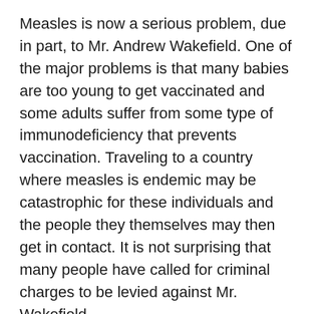Measles is now a serious problem, due in part, to Mr. Andrew Wakefield. One of the major problems is that many babies are too young to get vaccinated and some adults suffer from some type of immunodeficiency that prevents vaccination. Traveling to a country where measles is endemic may be catastrophic for these individuals and the people they themselves may then get in contact. It is not surprising that many people have called for criminal charges to be levied against Mr. Wakefield.
Mr. Wakefield’s gigantic ego has prevented him learning from his own mistakes; in this regard  he is a man controlled by his own biases. He now promotes explanations about how the measles virus could move retrogradely from the GI tract to the CNS via peripheral nerves, yet to my knowledge, has not designed any